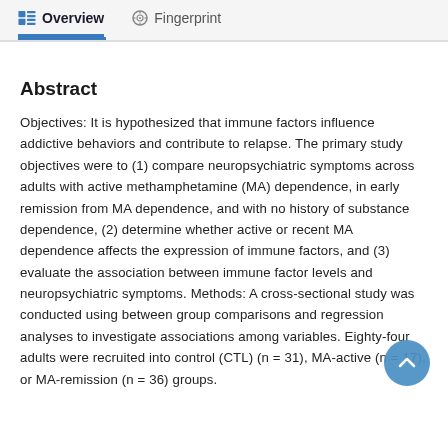Overview   Fingerprint
Abstract
Objectives: It is hypothesized that immune factors influence addictive behaviors and contribute to relapse. The primary study objectives were to (1) compare neuropsychiatric symptoms across adults with active methamphetamine (MA) dependence, in early remission from MA dependence, and with no history of substance dependence, (2) determine whether active or recent MA dependence affects the expression of immune factors, and (3) evaluate the association between immune factor levels and neuropsychiatric symptoms. Methods: A cross-sectional study was conducted using between group comparisons and regression analyses to investigate associations among variables. Eighty-four adults were recruited into control (CTL) (n = 31), MA-active (n = 17), or MA-remission (n = 36) groups.